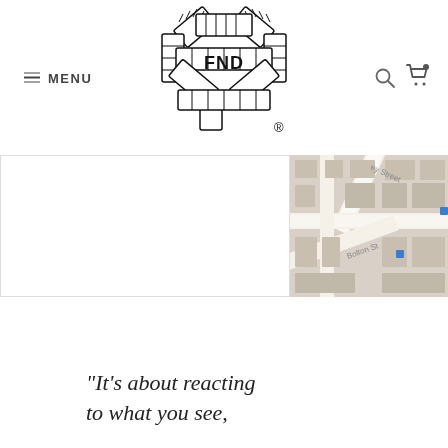FND (logo) — MENU, search icon, cart icon
[Figure (map): Street map snippet showing streets including 'ey Street' and 'Bolton St' with blue marker dots]
“It’s about reacting to what you see,